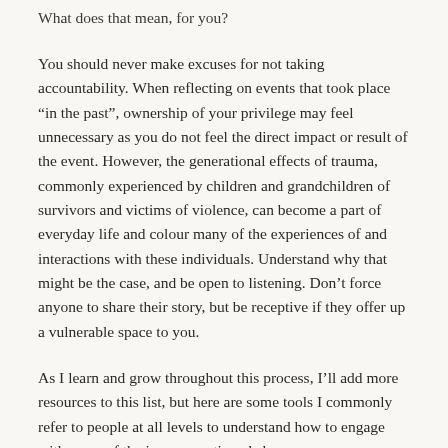What does that mean, for you?
You should never make excuses for not taking accountability. When reflecting on events that took place “in the past”, ownership of your privilege may feel unnecessary as you do not feel the direct impact or result of the event. However, the generational effects of trauma, commonly experienced by children and grandchildren of survivors and victims of violence, can become a part of everyday life and colour many of the experiences of and interactions with these individuals. Understand why that might be the case, and be open to listening. Don’t force anyone to share their story, but be receptive if they offer up a vulnerable space to you.
As I learn and grow throughout this process, I’ll add more resources to this list, but here are some tools I commonly refer to people at all levels to understand how to engage with some of the issues mentioned above: